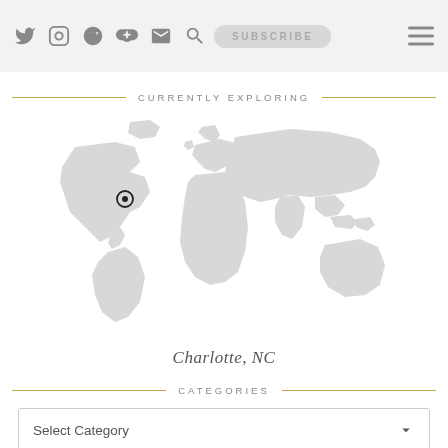SUBSCRIBE [social icons: twitter, instagram, pinterest, email, search] [hamburger menu]
CURRENTLY EXPLORING
[Figure (map): World map in light gray with a location pin marker on eastern United States (Charlotte, NC area)]
Charlotte, NC
CATEGORIES
Select Category